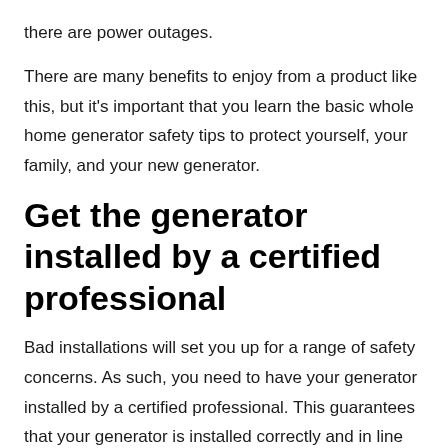there are power outages.
There are many benefits to enjoy from a product like this, but it's important that you learn the basic whole home generator safety tips to protect yourself, your family, and your new generator.
Get the generator installed by a certified professional
Bad installations will set you up for a range of safety concerns. As such, you need to have your generator installed by a certified professional. This guarantees that your generator is installed correctly and in line with any electrical regulations. The chances of issues occurring will greatly